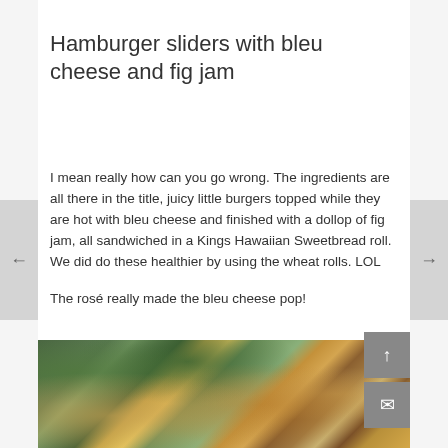Hamburger sliders with bleu cheese and fig jam
I mean really how can you go wrong.  The ingredients are all there in the title, juicy little burgers topped while they are hot with bleu cheese and finished with a dollop of fig jam, all sandwiched in a Kings Hawaiian Sweetbread roll. We did do these healthier by using the wheat rolls. LOL
The rosé really made the bleu cheese pop!
[Figure (photo): Photo of hamburger sliders with bleu cheese and fig jam on Kings Hawaiian rolls, served on a plate with greens and yellow flowers in the background]